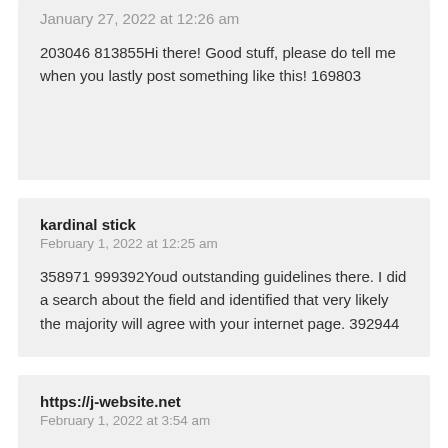January 27, 2022 at 12:26 am
203046 813855Hi there! Good stuff, please do tell me when you lastly post something like this! 169803
kardinal stick
February 1, 2022 at 12:25 am
358971 999392Youd outstanding guidelines there. I did a search about the field and identified that very likely the majority will agree with your internet page. 392944
https://j-website.net
February 1, 2022 at 3:54 am